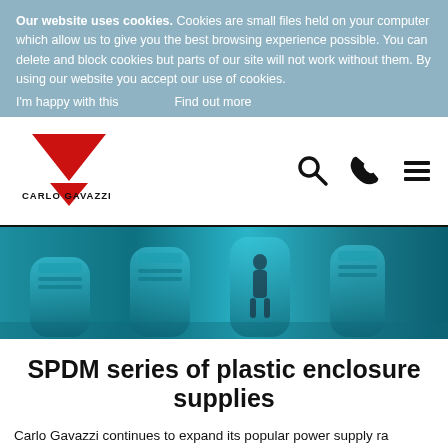Our website uses cookies. Cookies are small files held on your computer which allow us to give you the best browsing experience possible. You can delete and block cookies but parts of our site will not work without them. By using our website you accept our use of cookies.
I'm happy with this    Find out more
[Figure (logo): Carlo Gavazzi logo: red inverted triangle above the text CARLO GAVAZZI]
[Figure (screenshot): Navigation bar icons: magnifying glass (search), telephone (call), and hamburger menu (three horizontal lines)]
[Figure (photo): Hero image showing escalators in a shopping mall or public space with teal/blue tones, a silhouette of a person visible among the escalators]
SPDM series of plastic enclosure supplies
Carlo Gavazzi continues to expand its popular power supply ra...